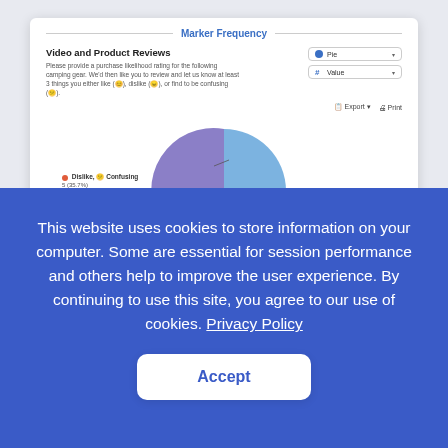Marker Frequency
Video and Product Reviews
Please provide a purchase likelihood rating for the following camping gear. We'd then like you to review and let us know at least 3 things you either like, dislike, or find to be confusing.
[Figure (pie-chart): Pie chart showing marker frequency with Dislike/Confusing segment labeled 5 (35.7%)]
This website uses cookies to store information on your computer. Some are essential for session performance and others help to improve the user experience. By continuing to use this site, you agree to our use of cookies. Privacy Policy
Accept